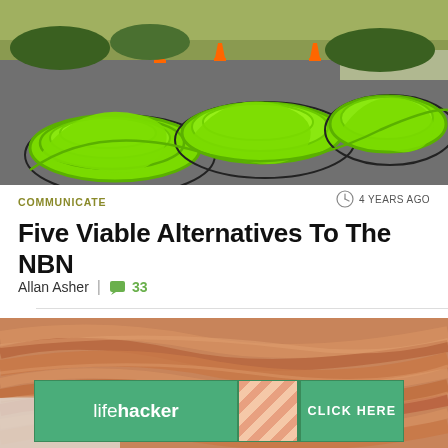[Figure (photo): Aerial view of bright green NBN fiber optic cables coiled in large loops on a grey asphalt road, with orange traffic cones in the background]
COMMUNICATE
4 YEARS AGO
Five Viable Alternatives To The NBN
Allan Asher | 33
[Figure (photo): Close-up of coiled copper wire/cable with warm reddish-brown tones, with a Lifehacker advertisement overlay at the bottom]
[Figure (other): Lifehacker advertisement banner with green background, striped pattern, and CLICK HERE button]